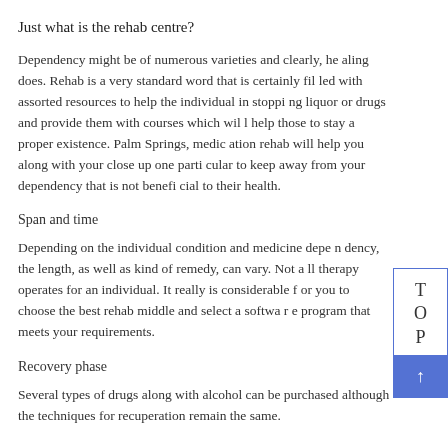Just what is the rehab centre?
Dependency might be of numerous varieties and clearly, healing does. Rehab is a very standard word that is certainly filled with assorted resources to help the individual in stopping liquor or drugs and provide them with courses which will help those to stay a proper existence. Palm Springs, medication rehab will help you along with your close up one particular to keep away from your dependency that is not beneficial to their health.
Span and time
Depending on the individual condition and medicine dependency, the length, as well as kind of remedy, can vary. Not all therapy operates for an individual. It really is considerable for you to choose the best rehab middle and select a software program that meets your requirements.
Recovery phase
Several types of drugs along with alcohol can be purchased although the techniques for recuperation remain the same.